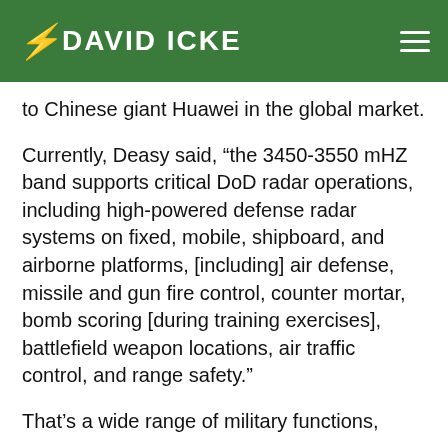DAVID ICKE
to Chinese giant Huawei in the global market.
Currently, Deasy said, “the 3450-3550 mHZ band supports critical DoD radar operations, including high-powered defense radar systems on fixed, mobile, shipboard, and airborne platforms, [including] air defense, missile and gun fire control, counter mortar, bomb scoring [during training exercises], battlefield weapon locations, air traffic control, and range safety.”
That’s a wide range of military functions,